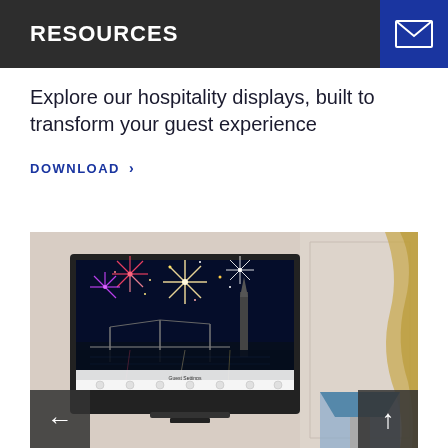RESOURCES
Explore our hospitality displays, built to transform your guest experience
DOWNLOAD >
[Figure (photo): Hotel room scene with a Samsung hospitality TV on the wall showing fireworks over a city waterfront, with hotel menu interface visible at the bottom of the screen. A lamp with blue shade is visible to the right.]